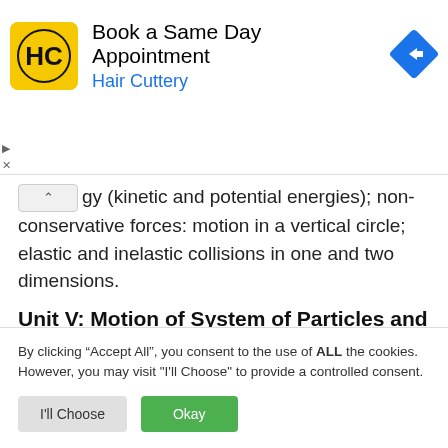[Figure (logo): Hair Cuttery advertisement banner with HC logo, text 'Book a Same Day Appointment' and 'Hair Cuttery', and a blue navigation arrow icon]
gy (kinetic and potential energies); non-conservative forces: motion in a vertical circle; elastic and inelastic collisions in one and two dimensions.
Unit V: Motion of System of Particles and Rigid Body
By clicking “Accept All”, you consent to the use of ALL the cookies. However, you may visit "I'll Choose" to provide a controlled consent.